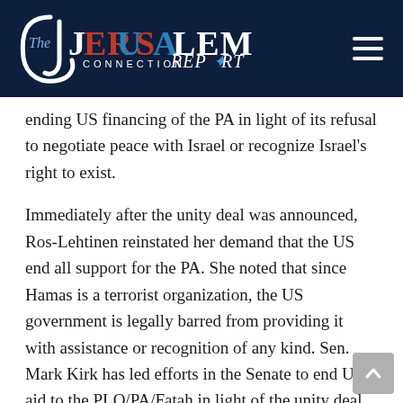[Figure (logo): The Jerusalem Connection Report logo on dark navy background with hamburger menu icon]
ending US financing of the PA in light of its refusal to negotiate peace with Israel or recognize Israel's right to exist.
Immediately after the unity deal was announced, Ros-Lehtinen reinstated her demand that the US end all support for the PA. She noted that since Hamas is a terrorist organization, the US government is legally barred from providing it with assistance or recognition of any kind. Sen. Mark Kirk has led efforts in the Senate to end US aid to the PLO/PA/Fatah in light of the unity deal.
If Netanyahu follows the advice of his leftist critics and cooperates with the Obama administration in its